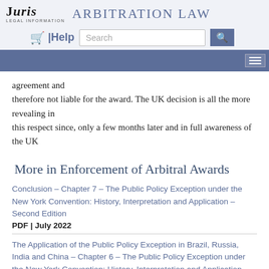JURIS LEGAL INFORMATION | ARBITRATION LAW
agreement and therefore not liable for the award. The UK decision is all the more revealing in this respect since, only a few months later and in full awareness of the UK
More in Enforcement of Arbitral Awards
Conclusion – Chapter 7 – The Public Policy Exception under the New York Convention: History, Interpretation and Application – Second Edition
PDF | July 2022
The Application of the Public Policy Exception in Brazil, Russia, India and China – Chapter 6 – The Public Policy Exception under the New York Convention: History, Interpretation and Application – Second Edition
PDF | July 2022